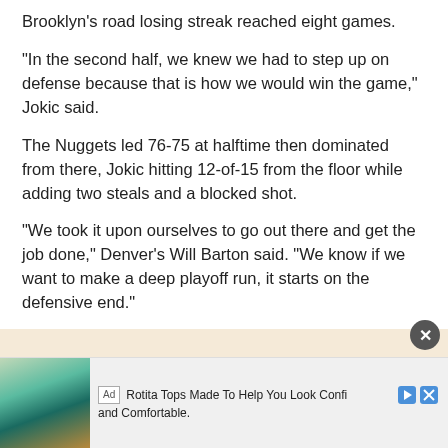Brooklyn's road losing streak reached eight games.
“In the second half, we knew we had to step up on defense because that is how we would win the game,” Jokic said.
The Nuggets led 76-75 at halftime then dominated from there, Jokic hitting 12-of-15 from the floor while adding two steals and a blocked shot.
“We took it upon ourselves to go out there and get the job done,” Denver’s Will Barton said. “We know if we want to make a deep playoff run, it starts on the defensive end.”
[Figure (other): Advertisement banner for Rotita Tops with a photo of a person in a colorful jacket. Text reads: Rotita Tops Made To Help You Look Confident and Comfortable.]